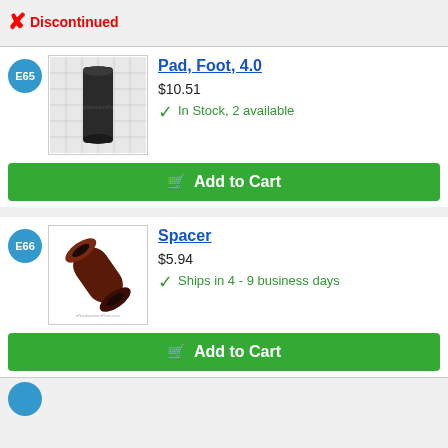Discontinued
[Figure (photo): Pad, Foot, 4.0 part image on grid background]
Pad, Foot, 4.0
$10.51
In Stock, 2 available
Add to Cart
[Figure (photo): Spacer part image - cylindrical tube]
Spacer
$5.94
Ships in 4 - 9 business days
Add to Cart